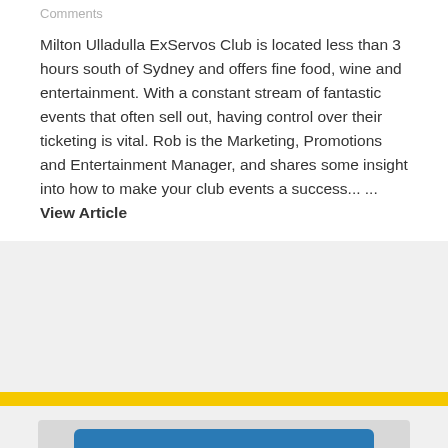Comments
Milton Ulladulla ExServos Club is located less than 3 hours south of Sydney and offers fine food, wine and entertainment. With a constant stream of fantastic events that often sell out, having control over their ticketing is vital. Rob is the Marketing, Promotions and Entertainment Manager, and shares some insight into how to make your club events a success...  ...  View Article
[Figure (photo): Laptop screen showing 'Create a GREAT' text on blue background, with yellow accent element in lower left corner]